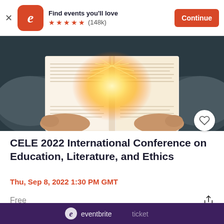[Figure (screenshot): Eventbrite app banner with logo, 'Find events you'll love', 5 orange stars, (148k) reviews, and Continue button]
[Figure (photo): Person holding open book with glowing light/sparkle effect in the middle of the pages]
CELE 2022 International Conference on Education, Literature, and Ethics
Thu, Sep 8, 2022 1:30 PM GMT
Free
[Figure (other): Dark purple footer bar with Eventbrite logo partially visible]